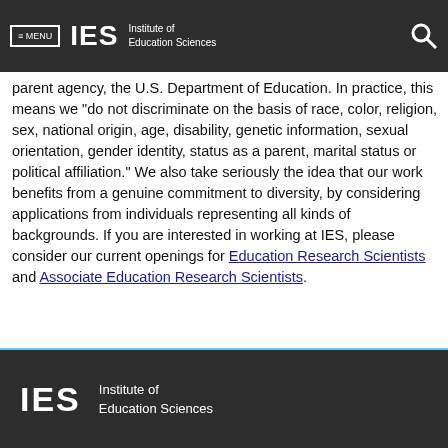≡ MENU  IES  Institute of Education Sciences
parent agency, the U.S. Department of Education. In practice, this means we "do not discriminate on the basis of race, color, religion, sex, national origin, age, disability, genetic information, sexual orientation, gender identity, status as a parent, marital status or political affiliation." We also take seriously the idea that our work benefits from a genuine commitment to diversity, by considering applications from individuals representing all kinds of backgrounds. If you are interested in working at IES, please consider our current openings for Education Research Scientists and Associate Education Research Scientists.
IES  Institute of Education Sciences